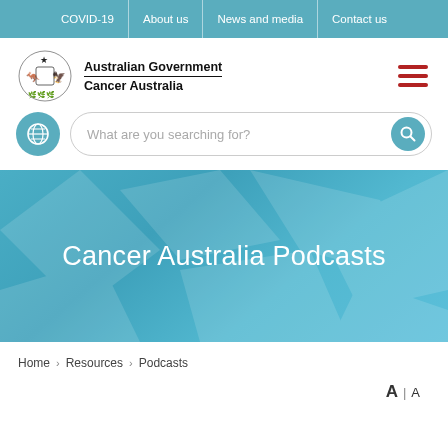COVID-19 | About us | News and media | Contact us
[Figure (logo): Australian Government Cancer Australia logo with coat of arms and text]
[Figure (infographic): Hamburger menu icon (three red horizontal lines)]
[Figure (infographic): Globe icon (teal circle with grid/globe symbol) and search bar with text 'What are you searching for?' and teal search button]
Cancer Australia Podcasts
Home > Resources > Podcasts
A | A